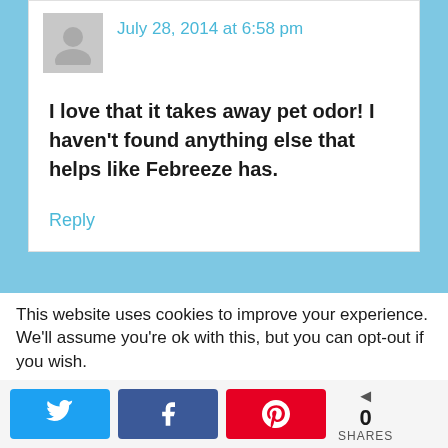July 28, 2014 at 6:58 pm
I love that it takes away pet odor! I haven't found anything else that helps like Febreeze has.
Reply
This website uses cookies to improve your experience. We'll assume you're ok with this, but you can opt-out if you wish.
0 SHARES